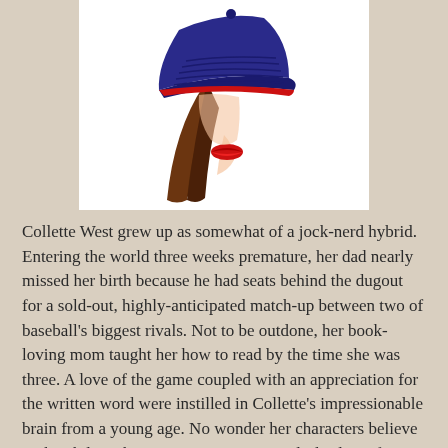[Figure (illustration): Stylized illustration of a woman wearing a dark navy/purple baseball cap, with flowing brown hair and red lips, on a white background.]
Collette West grew up as somewhat of a jock-nerd hybrid. Entering the world three weeks premature, her dad nearly missed her birth because he had seats behind the dugout for a sold-out, highly-anticipated match-up between two of baseball's biggest rivals. Not to be outdone, her book-loving mom taught her how to read by the time she was three. A love of the game coupled with an appreciation for the written word were instilled in Collette's impressionable brain from a young age. No wonder her characters believe in the philosophy: sports + romance = a little slice of heaven.
Splitting her time between the Pocono Mountains and Manhattan, Collette indulges her inner fangirl by going to as many games as she can from hockey to baseball and